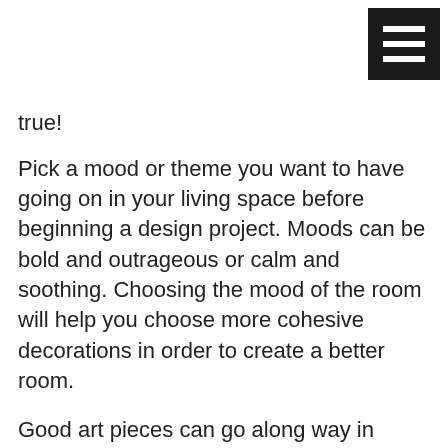[Figure (other): Black hamburger menu button icon in top-right corner]
true!
Pick a mood or theme you want to have going on in your living space before beginning a design project. Moods can be bold and outrageous or calm and soothing. Choosing the mood of the room will help you choose more cohesive decorations in order to create a better room.
Good art pieces can go along way in interior design. A painting can serve as a focal point, especially if it matches your design elements. A good painting is a great way to get started with your interior decorating.
You can lower your design budget by opting for quality pieces from big-box merchants. Designer goods are very expensive and it’s easy to find comparable goods for lesser costs. In the end go with the cheapest price available so you can save a lot of money.